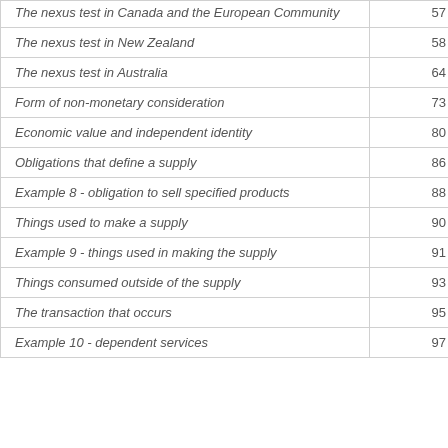| Topic | Page |
| --- | --- |
| The nexus test in Canada and the European Community | 57 |
| The nexus test in New Zealand | 58 |
| The nexus test in Australia | 64 |
| Form of non-monetary consideration | 73 |
| Economic value and independent identity | 80 |
| Obligations that define a supply | 86 |
| Example 8 - obligation to sell specified products | 88 |
| Things used to make a supply | 90 |
| Example 9 - things used in making the supply | 91 |
| Things consumed outside of the supply | 93 |
| The transaction that occurs | 95 |
| Example 10 - dependent services | 97 |